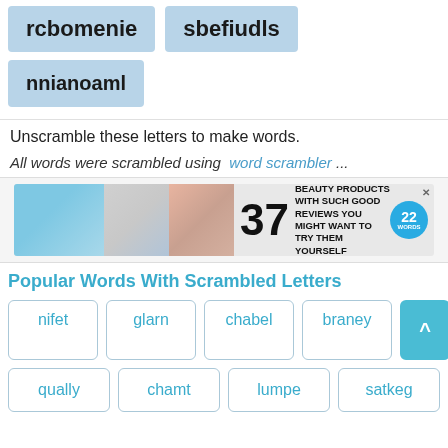rcbomenie
sbefiudls
nnianoaml
Unscramble these letters to make words.
All words were scrambled using   word scrambler ...
[Figure (infographic): Advertisement banner: 37 BEAUTY PRODUCTS WITH SUCH GOOD REVIEWS YOU MIGHT WANT TO TRY THEM YOURSELF, with circular badge showing '22 WORDS']
Popular Words With Scrambled Letters
nifet
glarn
chabel
braney
qually
chamt
lumpe
satkeg